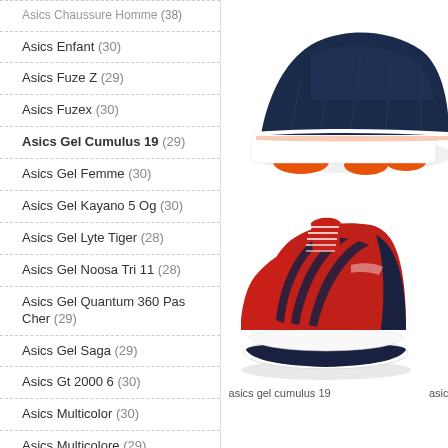Asics Chaussure Homme (38)
Asics Enfant (30)
Asics Fuze Z (29)
Asics Fuzex (30)
Asics Gel Cumulus 19 (29)
Asics Gel Femme (30)
Asics Gel Kayano 5 Og (30)
Asics Gel Lyte Tiger (28)
Asics Gel Noosa Tri 11 (28)
Asics Gel Quantum 360 Pas Cher (29)
Asics Gel Saga (29)
Asics Gt 2000 6 (30)
Asics Multicolor (30)
Asics Multicolore (29)
Asics Noosa Gel Tri 11 (29)
Asics Running Femme (30)
[Figure (photo): Asics running shoe top view, white/navy/orange colorway, cropped side view showing midsole]
[Figure (photo): Asics Gel Cumulus 19 running shoe, red/navy colorway, side view on white background]
asics gel cumulus 19
asic